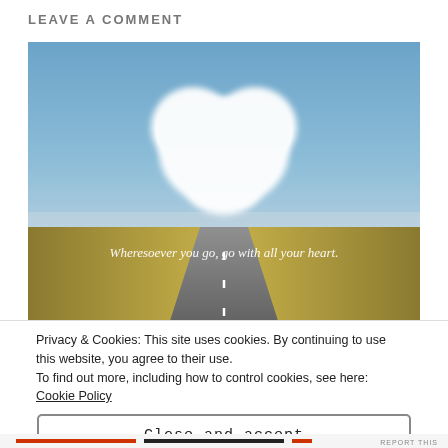LEAVE A COMMENT
[Figure (photo): A long straight road stretching to the horizon through flat golden fields under a blue sky, with a large white heart-shaped cloud floating above. Text overlay reads: 'Wheresoever you go, go with all your heart.']
Privacy & Cookies: This site uses cookies. By continuing to use this website, you agree to their use.
To find out more, including how to control cookies, see here: Cookie Policy
Close and accept